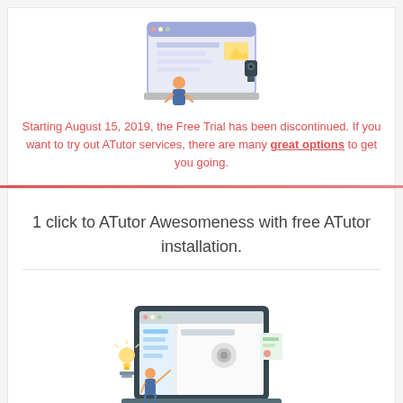[Figure (illustration): Isometric illustration of a person at a computer/web browser with a webcam, showing an online learning interface]
Starting August 15, 2019, the Free Trial has been discontinued. If you want to try out ATutor services, there are many great options to get you going.
1 click to ATutor Awesomeness with free ATutor installation.
[Figure (illustration): Isometric illustration of a person interacting with a large laptop screen showing a settings/configuration interface, with a lightbulb icon nearby]